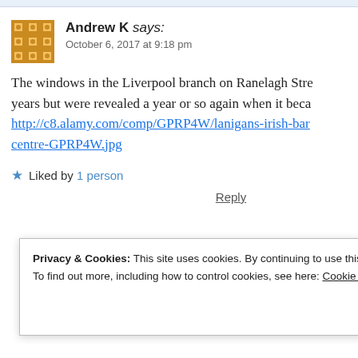Andrew K says: October 6, 2017 at 9:18 pm
The windows in the Liverpool branch on Ranelagh Stre... years but were revealed a year or so again when it beca... http://c8.alamy.com/comp/GPRP4W/lanigans-irish-bar... centre-GPRP4W.jpg
★ Liked by 1 person
Reply
Privacy & Cookies: This site uses cookies. By continuing to use this website, you agree to their use. To find out more, including how to control cookies, see here: Cookie Policy
Close and accept